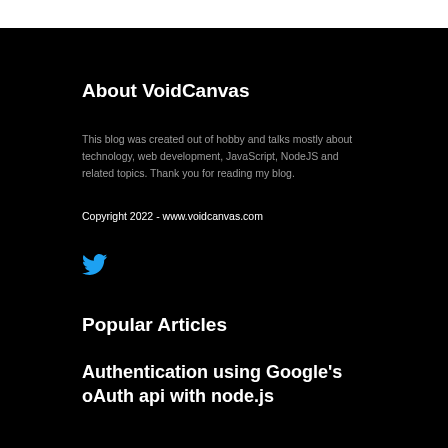About VoidCanvas
This blog was created out of hobby and talks mostly about technology, web development, JavaScript, NodeJS and related topics. Thank you for reading my blog.
Copyright 2022 - www.voidcanvas.com
[Figure (logo): Twitter bird logo icon in blue]
Popular Articles
Authentication using Google's oAuth api with node.js